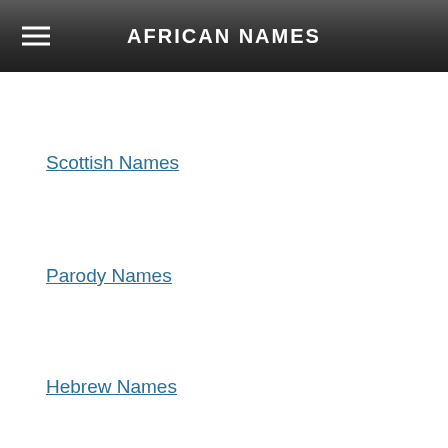AFRICAN NAMES
Scottish Names
Parody Names
Hebrew Names
Greek God Names
English Names